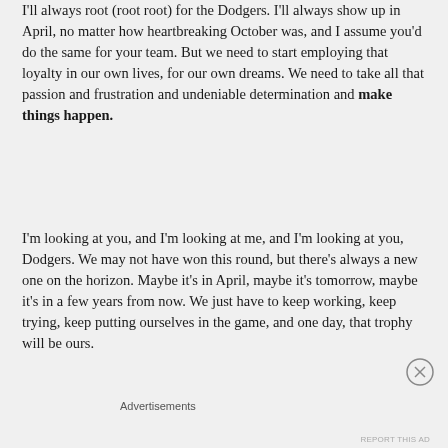I'll always root (root root) for the Dodgers. I'll always show up in April, no matter how heartbreaking October was, and I assume you'd do the same for your team. But we need to start employing that loyalty in our own lives, for our own dreams. We need to take all that passion and frustration and undeniable determination and make things happen.
I'm looking at you, and I'm looking at me, and I'm looking at you, Dodgers. We may not have won this round, but there's always a new one on the horizon. Maybe it's in April, maybe it's tomorrow, maybe it's in a few years from now. We just have to keep working, keep trying, keep putting ourselves in the game, and one day, that trophy will be ours.
Advertisements